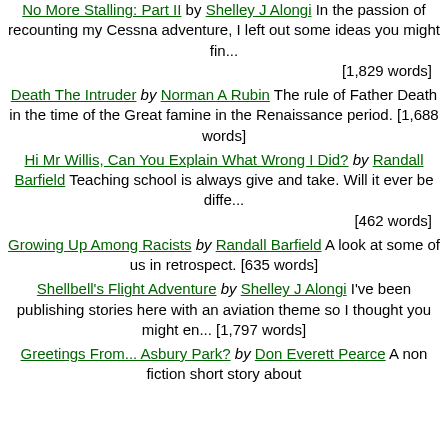No More Stalling: Part II by Shelley J Alongi In the passion of recounting my Cessna adventure, I left out some ideas you might fin... [1,829 words]
Death The Intruder by Norman A Rubin The rule of Father Death in the time of the Great famine in the Renaissance period. [1,688 words]
Hi Mr Willis, Can You Explain What Wrong I Did? by Randall Barfield Teaching school is always give and take. Will it ever be diffe... [462 words]
Growing Up Among Racists by Randall Barfield A look at some of us in retrospect. [635 words]
Shellbell's Flight Adventure by Shelley J Alongi I've been publishing stories here with an aviation theme so I thought you might en... [1,797 words]
Greetings From... Asbury Park? by Don Everett Pearce A non fiction short story about